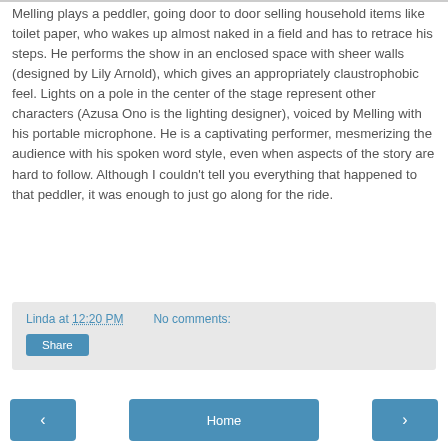Melling plays a peddler, going door to door selling household items like toilet paper, who wakes up almost naked in a field and has to retrace his steps. He performs the show in an enclosed space with sheer walls (designed by Lily Arnold), which gives an appropriately claustrophobic feel. Lights on a pole in the center of the stage represent other characters (Azusa Ono is the lighting designer), voiced by Melling with his portable microphone. He is a captivating performer, mesmerizing the audience with his spoken word style, even when aspects of the story are hard to follow. Although I couldn't tell you everything that happened to that peddler, it was enough to just go along for the ride.
Linda at 12:20 PM   No comments:
Share
‹   Home   ›